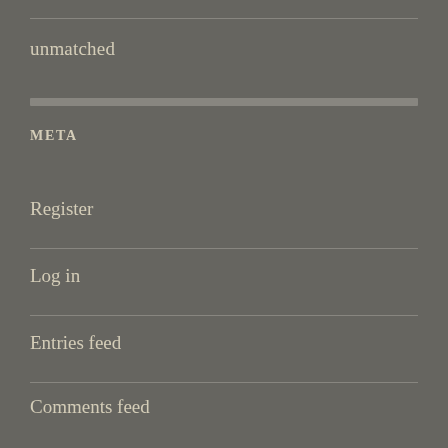unmatched
META
Register
Log in
Entries feed
Comments feed
WordPress.com